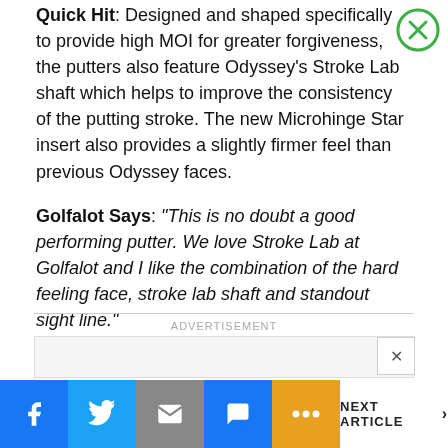Quick Hit: Designed and shaped specifically to provide high MOI for greater forgiveness, the putters also feature Odyssey's Stroke Lab shaft which helps to improve the consistency of the putting stroke. The new Microhinge Star insert also provides a slightly firmer feel than previous Odyssey faces.
Golfalot Says: "This is no doubt a good performing putter. We love Stroke Lab at Golfalot and I like the combination of the hard feeling face, stroke lab shaft and standout sight line."
ADVERTISEMENT